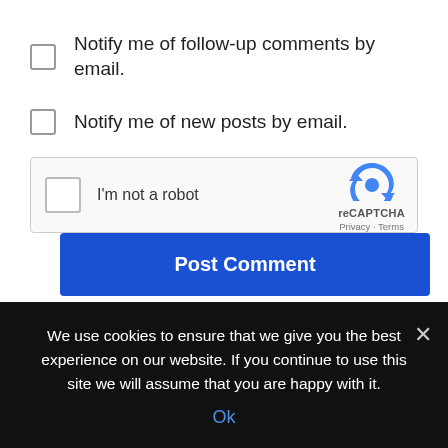Notify me of follow-up comments by email.
Notify me of new posts by email.
[Figure (screenshot): reCAPTCHA widget with checkbox labeled 'I'm not a robot' and reCAPTCHA logo with Privacy and Terms links]
Post Comment
This site uses Akismet to reduce spam. Learn how your comment data is processed.
We use cookies to ensure that we give you the best experience on our website. If you continue to use this site we will assume that you are happy with it. Ok